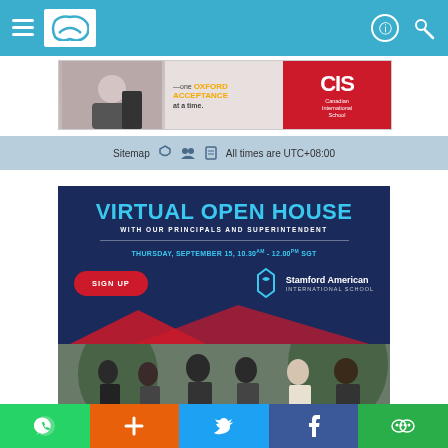Navigation bar with hamburger menu, logo, and search/profile icons
[Figure (screenshot): CIS Canadian International School ad banner: one OXFORD ACCEPTANCE at a time.]
Sitemap  All times are UTC+08:00
[Figure (infographic): Stamford American International School Virtual Open House event banner. VIRTUAL OPEN HOUSE WITH OUR PRINCIPALS AND SUPERINTENDENT. THURSDAY, SEPTEMBER 15, 10.30AM - 12.00PM SGT. SIGN UP button. Group photo of school principals.]
Social share bar: WhatsApp, Add, Twitter, Facebook, WeChat